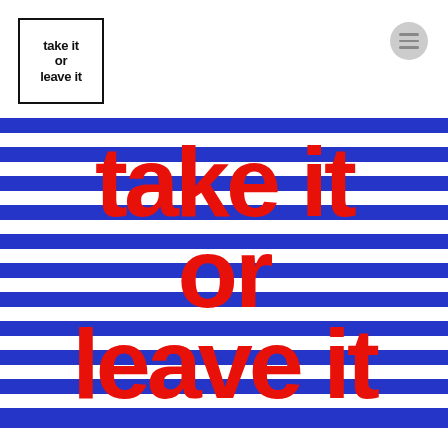[Figure (logo): Logo box with text 'take it or leave it' in bold sans-serif inside a black border rectangle, top-left corner]
[Figure (illustration): Horizontal blue and white stripes background with large bold red text reading 'take it or leave it' in three lines across the striped area. A small hamburger menu icon (three horizontal lines) in a grey circle appears in the top right.]